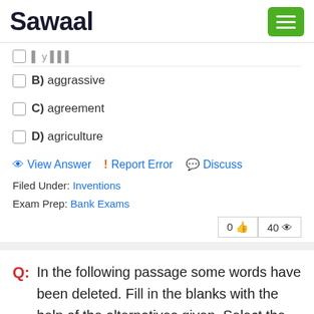Sawaal
A) [partially visible]
B) aggrassive
C) agreement
D) agriculture
View Answer   ! Report Error   Discuss
Filed Under: Inventions
Exam Prep: Bank Exams
0 👍  40 👁
Q: In the following passage some words have been deleted. Fill in the blanks with the help of the alternatives given. Select the most appropriate option for each blank.